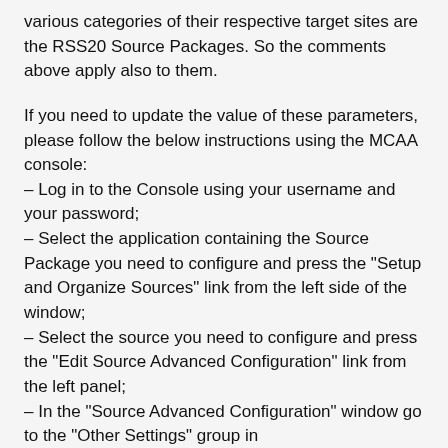various categories of their respective target sites are the RSS20 Source Packages. So the comments above apply also to them.
If you need to update the value of these parameters, please follow the below instructions using the MCAA console:
– Log in to the Console using your username and your password;
– Select the application containing the Source Package you need to configure and press the "Setup and Organize Sources" link from the left side of the window;
– Select the source you need to configure and press the "Edit Source Advanced Configuration" link from the left panel;
– In the "Source Advanced Configuration" window go to the "Other Settings" group in